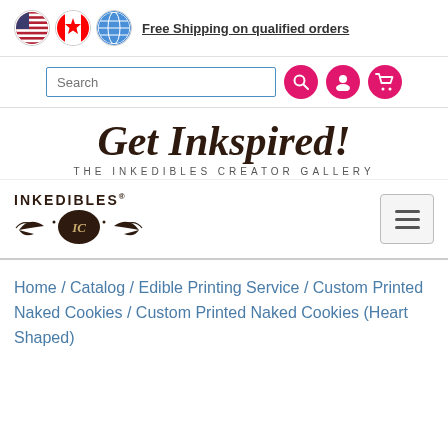Free Shipping on qualified orders
[Figure (screenshot): Search bar with magnifying glass icon, user account icon, and shopping cart icon]
Get Inkspired!
THE INKEDIBLES CREATOR GALLERY
[Figure (logo): Inkedibles logo with ornamental crest design]
Home / Catalog / Edible Printing Service / Custom Printed Naked Cookies / Custom Printed Naked Cookies (Heart Shaped)